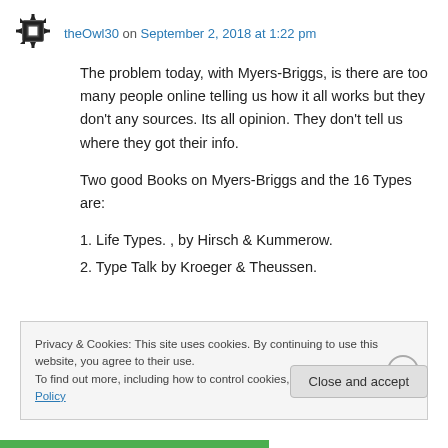theOwl30 on September 2, 2018 at 1:22 pm
The problem today, with Myers-Briggs, is there are too many people online telling us how it all works but they don't any sources. Its all opinion. They don't tell us where they got their info.
Two good Books on Myers-Briggs and the 16 Types are:
1. Life Types. , by Hirsch & Kummerow.
2. Type Talk by Kroeger & Theussen.
Privacy & Cookies: This site uses cookies. By continuing to use this website, you agree to their use.
To find out more, including how to control cookies, see here: Cookie Policy
Close and accept